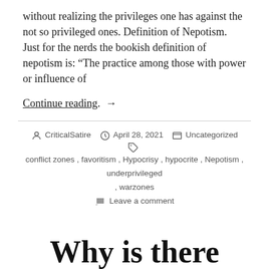without realizing the privileges one has against the not so privileged ones. Definition of Nepotism. Just for the nerds the bookish definition of nepotism is: “The practice among those with power or influence of
Continue reading. →
Author: CriticalSatire   April 28, 2021   Uncategorized
Tags: conflict zones, favoritism, Hypocrisy, hypocrite, Nepotism, underprivileged, warzones
Leave a comment
Why is there Islamophobia in this